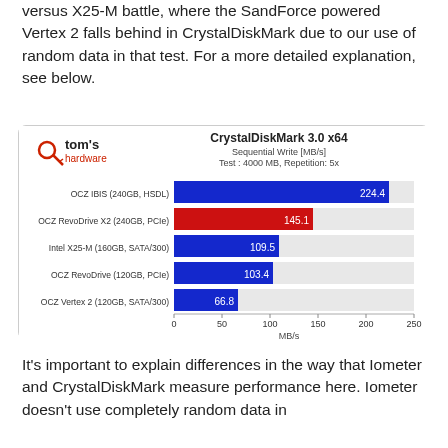versus X25-M battle, where the SandForce powered Vertex 2 falls behind in CrystalDiskMark due to our use of random data in that test. For a more detailed explanation, see below.
[Figure (bar-chart): CrystalDiskMark 3.0 x64]
It's important to explain differences in the way that Iometer and CrystalDiskMark measure performance here. Iometer doesn't use completely random data in